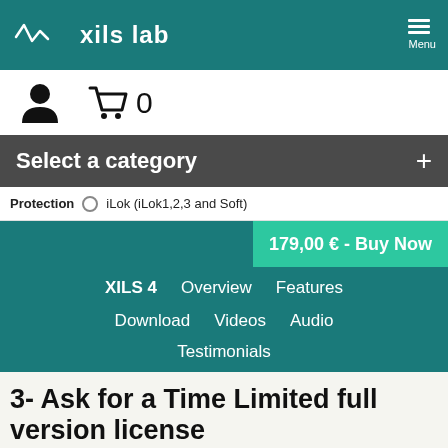xils lab  Menu
[Figure (screenshot): User icon and shopping cart with count 0]
Select a category  +
Protection  iLok (iLok1,2,3 and Soft)
179,00 € - Buy Now
XILS 4   Overview   Features   Download   Videos   Audio   Testimonials
3- Ask for a Time Limited full version license
You can therefore save your presets and settings,